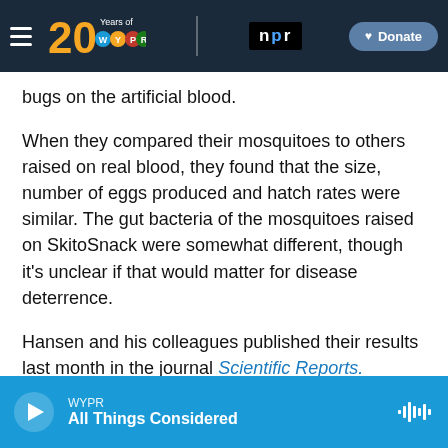WYPR 20 Years of WYPR | npr | Donate
bugs on the artificial blood.
When they compared their mosquitoes to others raised on real blood, they found that the size, number of eggs produced and hatch rates were similar. The gut bacteria of the mosquitoes raised on SkitoSnack were somewhat different, though it's unclear if that would matter for disease deterrence.
Hansen and his colleagues published their results last month in the journal Scientific Reports.
Taking wing
WYPR All Things Considered